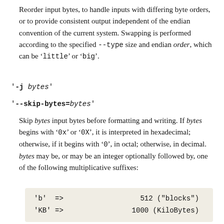Reorder input bytes, to handle inputs with differing byte orders, or to provide consistent output independent of the endian convention of the current system. Swapping is performed according to the specified --type size and endian order, which can be 'little' or 'big'.
'-j bytes'
'--skip-bytes=bytes'
Skip bytes input bytes before formatting and writing. If bytes begins with '0x' or '0X', it is interpreted in hexadecimal; otherwise, if it begins with '0', in octal; otherwise, in decimal. bytes may be, or may be an integer optionally followed by, one of the following multiplicative suffixes:
| 'b'  => | 512 ("blocks") |
| 'KB' => | 1000 (KiloBytes) |